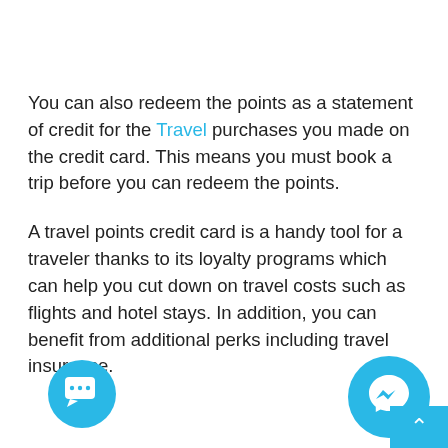You can also redeem the points as a statement of credit for the Travel purchases you made on the credit card. This means you must book a trip before you can redeem the points.
A travel points credit card is a handy tool for a traveler thanks to its loyalty programs which can help you cut down on travel costs such as flights and hotel stays. In addition, you can benefit from additional perks including travel insurance.
[Figure (illustration): Cyan circular chat bubble icon with speech bubble and ellipsis]
[Figure (illustration): Cyan circular Facebook Messenger icon]
[Figure (illustration): Cyan scroll-to-top button with upward arrow]